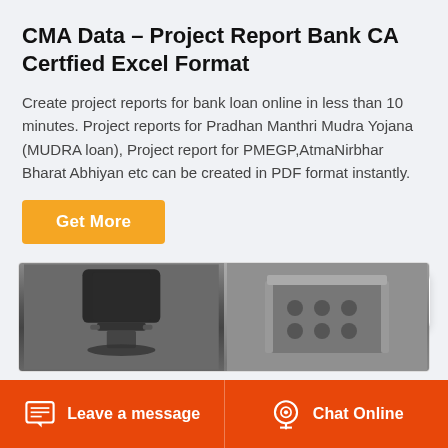CMA Data – Project Report Bank CA Certfied Excel Format
Create project reports for bank loan online in less than 10 minutes. Project reports for Pradhan Manthri Mudra Yojana (MUDRA loan), Project report for PMEGP,AtmaNirbhar Bharat Abhiyan etc can be created in PDF format instantly.
Get More
[Figure (photo): Two product images side by side: left shows a black office chair, right shows a metal perforated component]
Leave a message   Chat Online